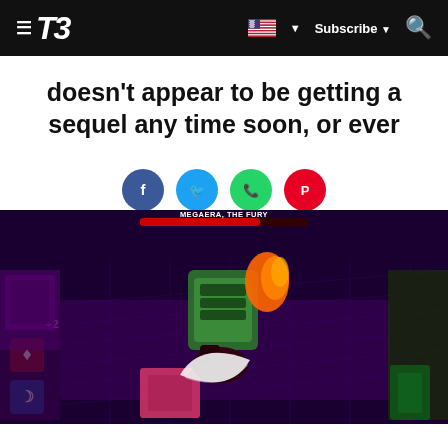T3 — Subscribe
doesn't appear to be getting a sequel any time soon, or ever
[Figure (screenshot): Screenshot of the video game Hades showing a boss fight against Megaera, the Fury — an isometric dungeon scene with purple tiles, the player character attacking with a crescent-shaped weapon swing, and a large green-armored enemy. A red HP bar labeled 'MEGAERA, THE FURY' appears at the top.]